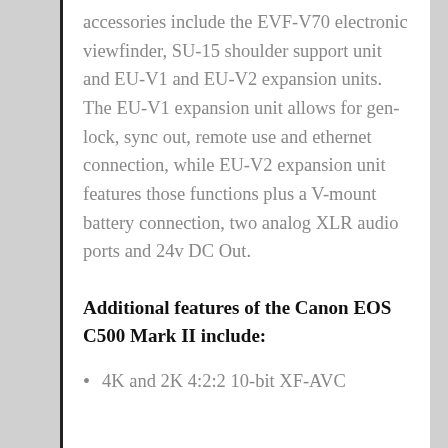accessories include the EVF-V70 electronic viewfinder, SU-15 shoulder support unit and EU-V1 and EU-V2 expansion units. The EU-V1 expansion unit allows for gen-lock, sync out, remote use and ethernet connection, while EU-V2 expansion unit features those functions plus a V-mount battery connection, two analog XLR audio ports and 24v DC Out.
Additional features of the Canon EOS C500 Mark II include:
4K and 2K 4:2:2 10-bit XF-AVC